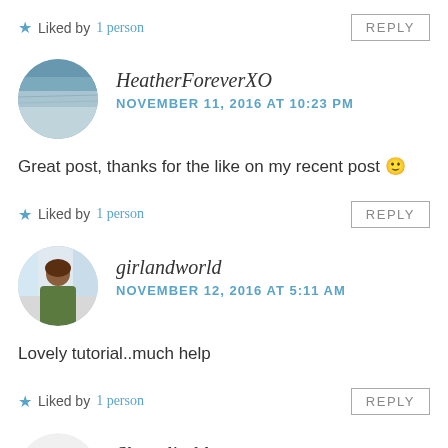Liked by 1 person
REPLY
[Figure (photo): Avatar of HeatherForeverXO - landscape ocean/sea photo in circular crop]
HeatherForeverXO
NOVEMBER 11, 2016 AT 10:23 PM
Great post, thanks for the like on my recent post 🙂
Liked by 1 person
REPLY
[Figure (photo): Avatar of girlandworld - photo of a woman at a desk/workspace in circular crop]
girlandworld
NOVEMBER 12, 2016 AT 5:11 AM
Lovely tutorial..much help
Liked by 1 person
REPLY
[Figure (photo): Partial avatar of Shopolissblog - colorful logo/image partially visible at bottom, circular crop]